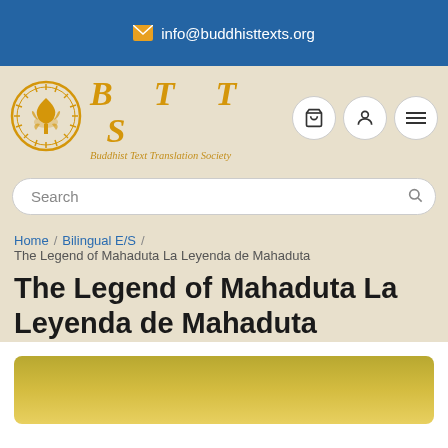✉ info@buddhisttexts.org
[Figure (logo): BTTS Buddhist Text Translation Society logo with circular emblem and orange text]
Search
Home / Bilingual E/S / The Legend of Mahaduta La Leyenda de Mahaduta
The Legend of Mahaduta La Leyenda de Mahaduta
[Figure (photo): Partial view of a book cover with yellow/golden coloring]